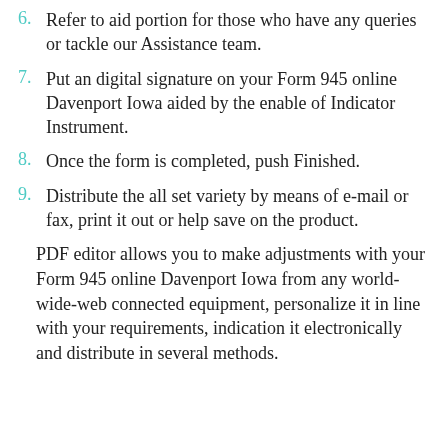6. Refer to aid portion for those who have any queries or tackle our Assistance team.
7. Put an digital signature on your Form 945 online Davenport Iowa aided by the enable of Indicator Instrument.
8. Once the form is completed, push Finished.
9. Distribute the all set variety by means of e-mail or fax, print it out or help save on the product.
PDF editor allows you to make adjustments with your Form 945 online Davenport Iowa from any world-wide-web connected equipment, personalize it in line with your requirements, indication it electronically and distribute in several methods.